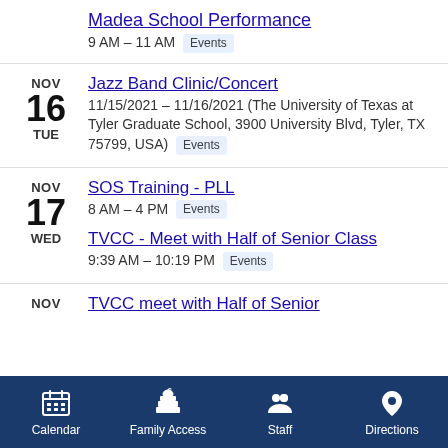Madea School Performance
9 AM – 11 AM  Events
NOV 16 TUE
Jazz Band Clinic/Concert
11/15/2021 – 11/16/2021 (The University of Texas at Tyler Graduate School, 3900 University Blvd, Tyler, TX 75799, USA)  Events
NOV 17 WED
SOS Training - PLL
8 AM – 4 PM  Events
TVCC - Meet with Half of Senior Class
9:39 AM – 10:19 PM  Events
NOV
TVCC meet with Half of Senior
Calendar   Family Access   Staff   Directions